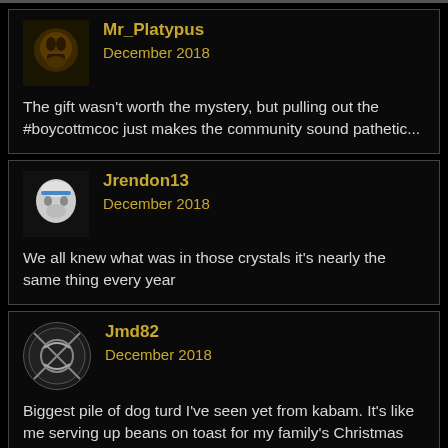Mr_Platypus
December 2018
The gift wasn't worth the mystery, but pulling out the #boycottmcoc just makes the community sound pathetic...
Jrendon13
December 2018
We all knew what was in those crystals it's nearly the same thing every year
Jmd82
December 2018
Biggest pile of dog turd I've seen yet from kabam. It's like me serving up beans on toast for my family's Christmas dinner while I keep the turkey in the freezer for my self. At least make the gifts usable I have no use for 4* AG's never mind the 3*